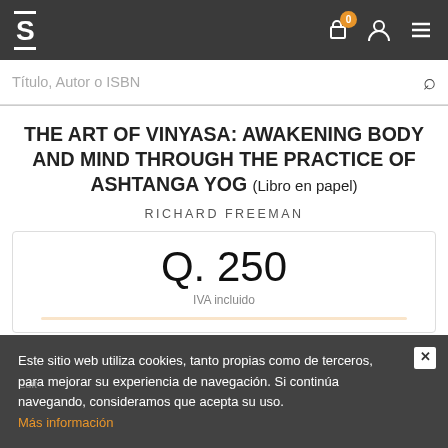S [logo] | cart (0) | user | menu
Título, Autor o ISBN
THE ART OF VINYASA: AWAKENING BODY AND MIND THROUGH THE PRACTICE OF ASHTANGA YOG (Libro en papel)
RICHARD FREEMAN
Q. 250
IVA incluido
Este sitio web utiliza cookies, tanto propias como de terceros, para mejorar su experiencia de navegación. Si continúa navegando, consideramos que acepta su uso. Más información